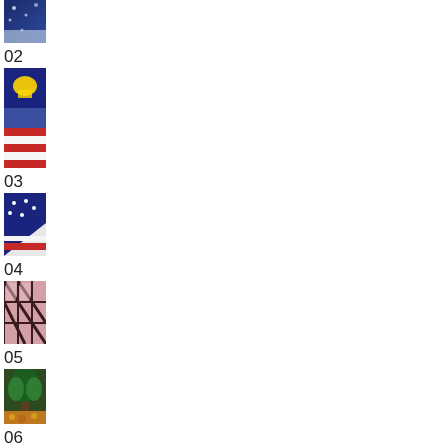[Figure (photo): Thumbnail image 01 - partial view of blue/dark starry fabric or flag]
02
[Figure (photo): Thumbnail image 02 - patriotic themed image with gold eagle and American flag colors]
03
[Figure (photo): Thumbnail image 03 - American flag with stars and stripes, corner view]
04
[Figure (photo): Thumbnail image 04 - dark grid/lattice pattern with pink tones]
05
[Figure (photo): Thumbnail image 05 - outdoor scene with trees and autumn leaves]
06
[Figure (photo): Thumbnail image 06 - navy/purple leggings with orange stripe]
07